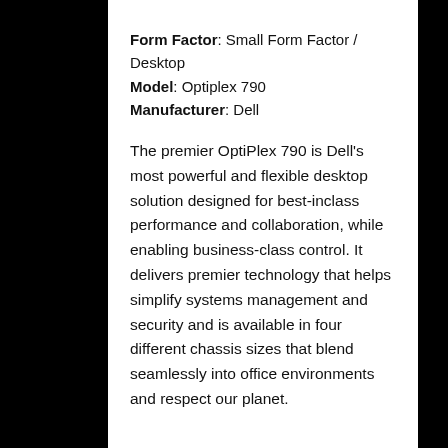Form Factor: Small Form Factor / Desktop
Model: Optiplex 790
Manufacturer: Dell
The premier OptiPlex 790 is Dell's most powerful and flexible desktop solution designed for best-inclass performance and collaboration, while enabling business-class control. It delivers premier technology that helps simplify systems management and security and is available in four different chassis sizes that blend seamlessly into office environments and respect our planet.